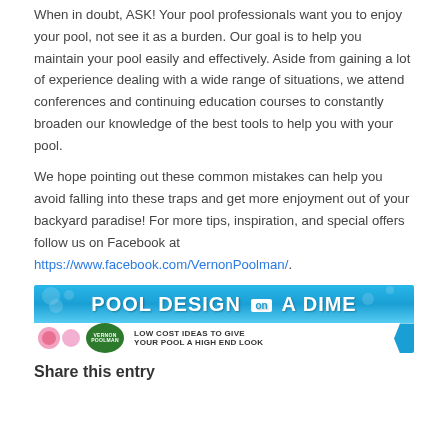When in doubt, ASK! Your pool professionals want you to enjoy your pool, not see it as a burden. Our goal is to help you maintain your pool easily and effectively. Aside from gaining a lot of experience dealing with a wide range of situations, we attend conferences and continuing education courses to constantly broaden our knowledge of the best tools to help you with your pool.
We hope pointing out these common mistakes can help you avoid falling into these traps and get more enjoyment out of your backyard paradise! For more tips, inspiration, and special offers follow us on Facebook at https://www.facebook.com/VernonPoolman/.
[Figure (illustration): Banner advertisement reading 'POOL DESIGN on A DIME' with blue water background on top half, and on bottom half white background with Vernon Poolman logo (green circle) and text 'LOW COST IDEAS TO GIVE YOUR POOL A HIGH END LOOK']
Share this entry